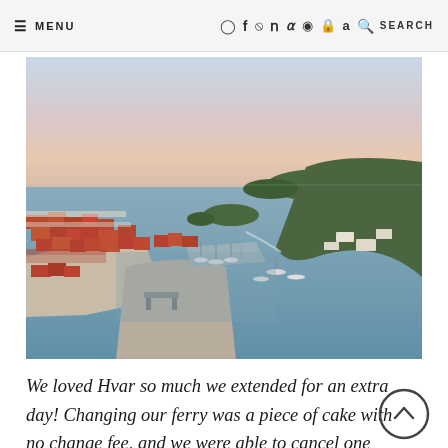≡ MENU  [social icons]  🔍 SEARCH
[Figure (photo): Aerial panoramic view of Hvar, Croatia at sunset/dusk, showing the harbor with sailboats, orange-roofed white buildings of the old town, surrounding islands and sea, taken from a fortress viewpoint with stone walls and a bench in the foreground.]
We loved Hvar so much we extended for an extra day! Changing our ferry was a piece of cake with no change fee, and we were able to cancel one day of our Airbnb with no fees as